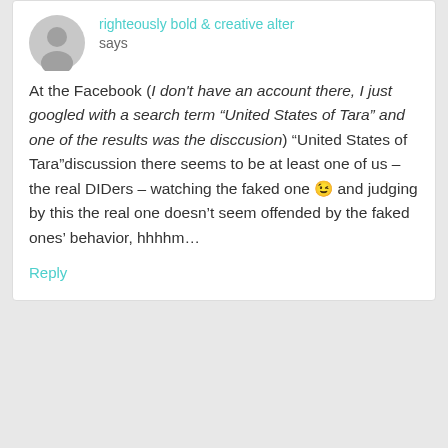righteously bold & creative alter says
At the Facebook (I don't have an account there, I just googled with a search term “United States of Tara” and one of the results was the disccusion) “United States of Tara”discussion there seems to be at least one of us – the real DIDers – watching the faked one 😉 and judging by this the real one doesn’t seem offended by the faked ones’ behavior, hhhhm…
Reply
gobbies says